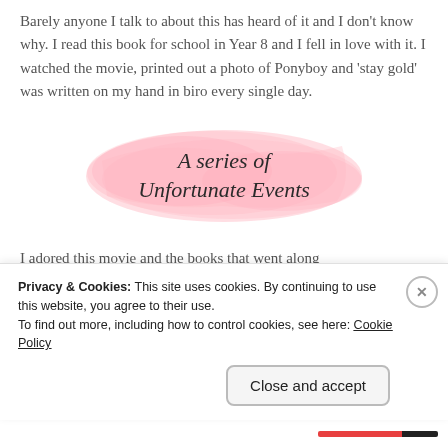Barely anyone I talk to about this has heard of it and I don't know why. I read this book for school in Year 8 and I fell in love with it. I watched the movie, printed out a photo of Ponyboy and 'stay gold' was written on my hand in biro every single day.
[Figure (illustration): Pink watercolor brush stroke background with cursive script text reading 'A series of Unfortunate Events']
I adored this movie and the books that went along with them...
Privacy & Cookies: This site uses cookies. By continuing to use this website, you agree to their use.
To find out more, including how to control cookies, see here: Cookie Policy
Close and accept